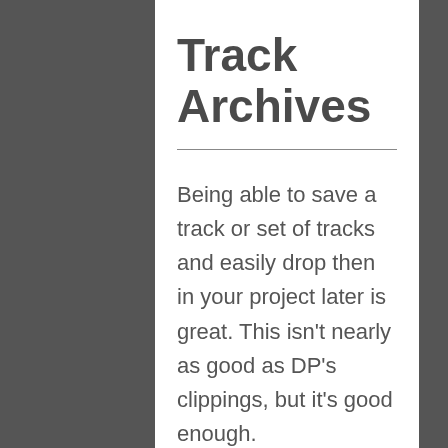Track Archives
Being able to save a track or set of tracks and easily drop then in your project later is great. This isn't nearly as good as DP's clippings, but it's good enough.